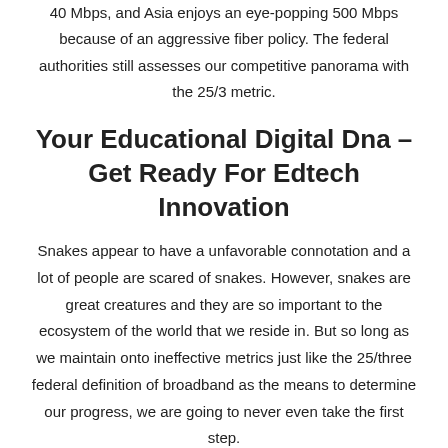40 Mbps, and Asia enjoys an eye-popping 500 Mbps because of an aggressive fiber policy. The federal authorities still assesses our competitive panorama with the 25/3 metric.
Your Educational Digital Dna – Get Ready For Edtech Innovation
Snakes appear to have a unfavorable connotation and a lot of people are scared of snakes. However, snakes are great creatures and they are so important to the ecosystem of the world that we reside in. But so long as we maintain onto ineffective metrics just like the 25/three federal definition of broadband as the means to determine our progress, we are going to never even take the first step.
There are approximately three,458 species of snakes, starting from the semi-frozen tundra of northern Canada to